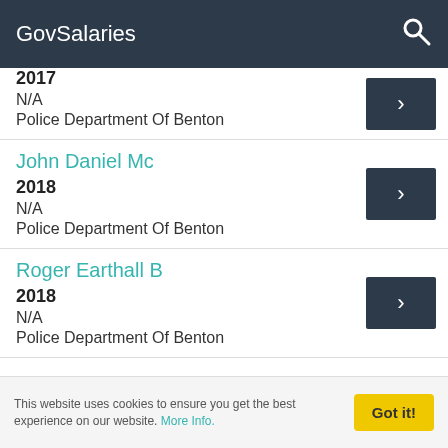GovSalaries
2017
N/A
Police Department Of Benton
John Daniel Mc
2018
N/A
Police Department Of Benton
Roger Earthall B
2018
N/A
Police Department Of Benton
This website uses cookies to ensure you get the best experience on our website. More Info.